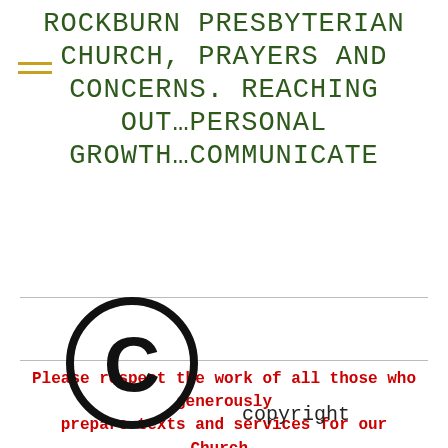ROCKBURN PRESBYTERIAN CHURCH, PRAYERS AND CONCERNS. REACHING OUT…PERSONAL GROWTH…COMMUNICATE
Please respect the work of all those who generously prepare texts and services for our Church. Do not copy without their authorization.
[Figure (illustration): Copyright symbol (circle-C) followed by the word 'copyright']